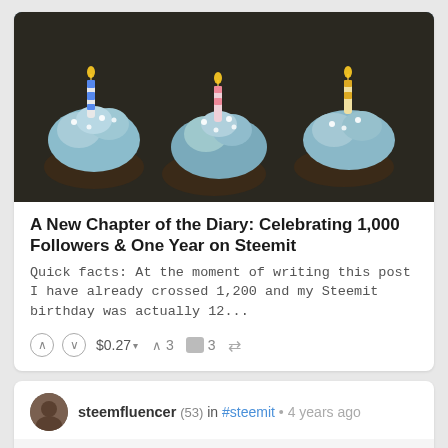[Figure (photo): Close-up photo of birthday cupcakes with blue frosting and candles on top]
A New Chapter of the Diary: Celebrating 1,000 Followers & One Year on Steemit
Quick facts: At the moment of writing this post I have already crossed 1,200 and my Steemit birthday was actually 12...
↑ ↓ $0.27 ▾  ↑ 3  💬 3  ↺
steemfluencer (53) in #steemit • 4 years ago
[Figure (illustration): Three wooden letter blocks spelling TWB — T in blue border, W in red border, B in green border]